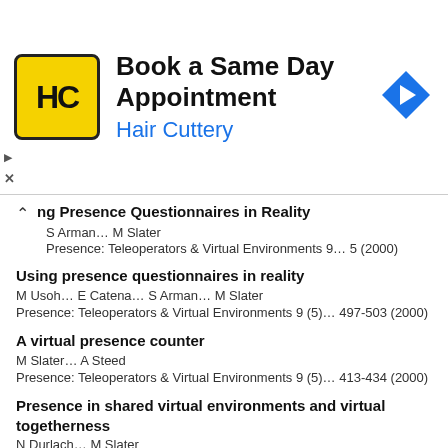[Figure (other): Advertisement banner for Hair Cuttery: yellow HC logo, text 'Book a Same Day Appointment / Hair Cuttery', blue directional arrow icon]
ng Presence Questionnaires in Reality
S Arman… M Slater
Presence: Teleoperators & Virtual Environments 9… 5 (2000)
Using presence questionnaires in reality
M Usoh… E Catena… S Arman… M Slater
Presence: Teleoperators & Virtual Environments 9 (5)… 497-503 (2000)
A virtual presence counter
M Slater… A Steed
Presence: Teleoperators & Virtual Environments 9 (5)… 413-434 (2000)
Presence in shared virtual environments and virtual togetherness
N Durlach… M Slater
Presence: Teleoperators & Virtual Environments 9 (2)… 214-217 (2000)